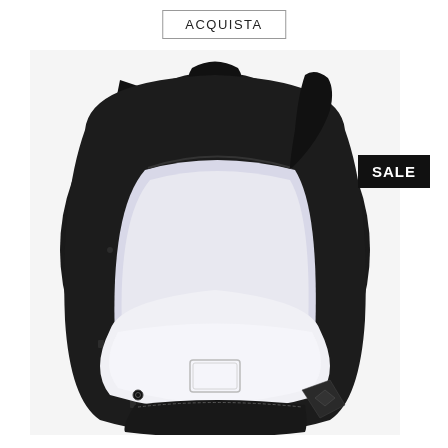ACQUISTA
[Figure (photo): Black backpack shown open, displaying white interior lining with a label patch. The backpack has small printed motifs (hands/mushrooms) on black fabric, with a front zipper pocket and leather-look accent patches. The bag is photographed from a front-angled view showing the interior.]
SALE